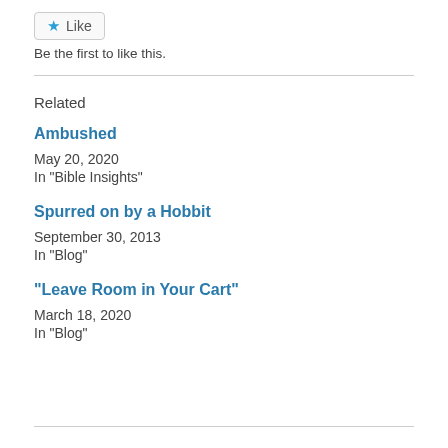Like
Be the first to like this.
Related
Ambushed
May 20, 2020
In "Bible Insights"
Spurred on by a Hobbit
September 30, 2013
In "Blog"
“Leave Room in Your Cart”
March 18, 2020
In "Blog"